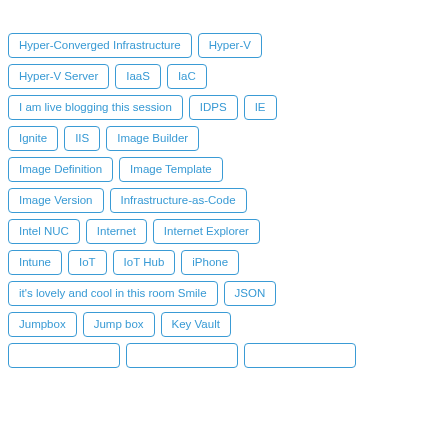Hyper-Converged Infrastructure
Hyper-V
Hyper-V Server
IaaS
IaC
I am live blogging this session
IDPS
IE
Ignite
IIS
Image Builder
Image Definition
Image Template
Image Version
Infrastructure-as-Code
Intel NUC
Internet
Internet Explorer
Intune
IoT
IoT Hub
iPhone
it's lovely and cool in this room Smile
JSON
Jumpbox
Jump box
Key Vault